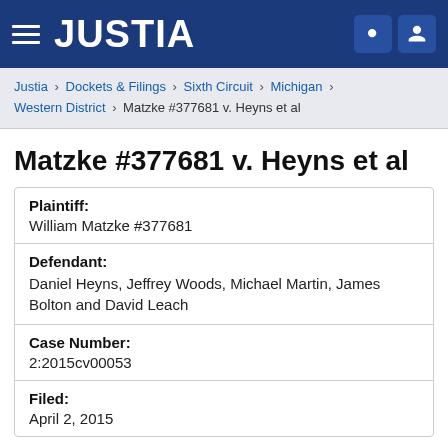JUSTIA
Justia › Dockets & Filings › Sixth Circuit › Michigan › Western District › Matzke #377681 v. Heyns et al
Matzke #377681 v. Heyns et al
| Plaintiff: | William Matzke #377681 |
| Defendant: | Daniel Heyns, Jeffrey Woods, Michael Martin, James Bolton and David Leach |
| Case Number: | 2:2015cv00053 |
| Filed: | April 2, 2015 |